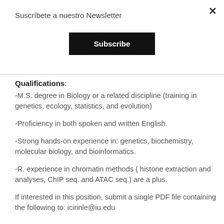Suscríbete a nuestro Newsletter
Subscribe
Qualifications:
-M.S. degree in Biology or a related discipline (training in genetics, ecology, statistics, and evolution)
-Proficiency in both spoken and written English.
-Strong hands-on experience in: genetics, biochemistry, molecular biology, and bioinformatics.
-R. experience in chromatin methods ( histone extraction and analyses, ChIP seq. and ATAC seq.) are a plus.
If interested in this position, submit a single PDF file containing the following to: icirinle@iu.edu